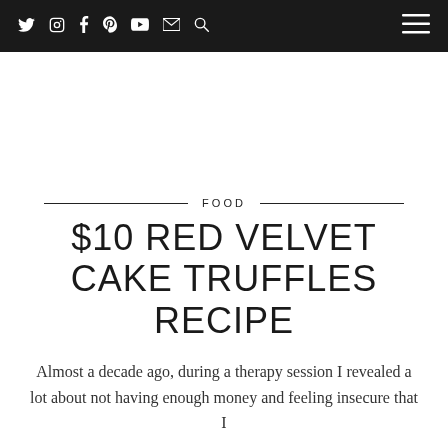Social media navigation bar with icons: Twitter, Instagram, Facebook, Pinterest, YouTube, Email, Search, and hamburger menu
FOOD
$10 RED VELVET CAKE TRUFFLES RECIPE
Almost a decade ago, during a therapy session I revealed a lot about not having enough money and feeling insecure that I